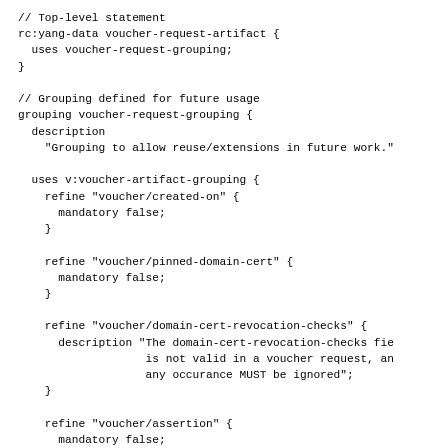// Top-level statement
rc:yang-data voucher-request-artifact {
  uses voucher-request-grouping;
}

// Grouping defined for future usage
grouping voucher-request-grouping {
  description
    "Grouping to allow reuse/extensions in future work."

  uses v:voucher-artifact-grouping {
    refine "voucher/created-on" {
      mandatory false;
    }

    refine "voucher/pinned-domain-cert" {
      mandatory false;
    }

    refine "voucher/domain-cert-revocation-checks" {
      description "The domain-cert-revocation-checks fie
                   is not valid in a voucher request, an
                   any occurance MUST be ignored";
    }

    refine "voucher/assertion" {
      mandatory false;
      description "Any assertion included in voucher
           requests SHOULD be ignored by the MASA.";